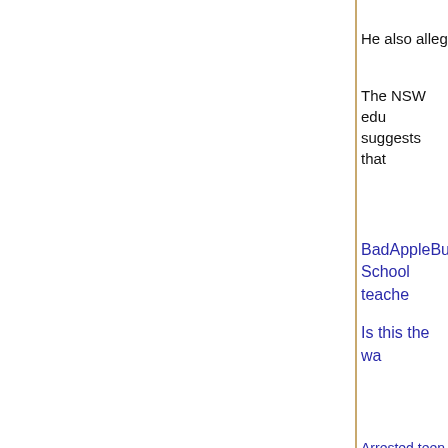He also alleg…
The NSW edu… suggests that…
BadAppleBu… School teache…
Is this the wa…
Arrested teen ha… 2015
Sympathiser onl…
Teacher's fa… they are wil…
Much alt...